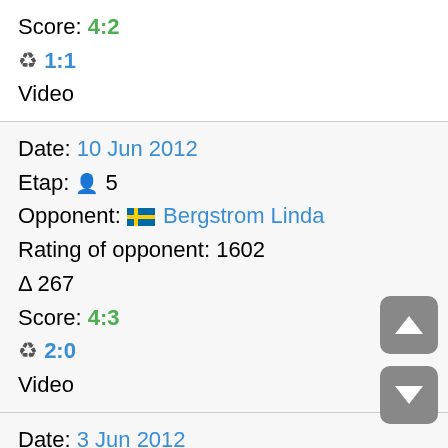Score: 4:2
🏃 1:1
Video
Date: 10 Jun 2012
Etap: 🔘 5
Opponent: 🇸🇪 Bergstrom Linda
Rating of opponent: 1602
Δ 267
Score: 4:3
🏃 2:0
Video
Date: 3 Jun 2012
Etap: 🔘🔘🔘 --
Opponent: 🇸🇪 Bergstrom Linda
Rating of opponent: 1602
Δ 267
Score: 3:1
🏃 2:0